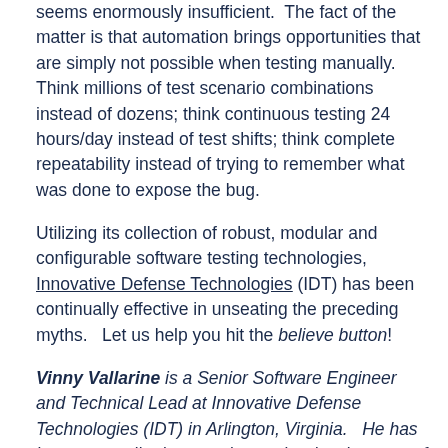seems enormously insufficient.  The fact of the matter is that automation brings opportunities that are simply not possible when testing manually.  Think millions of test scenario combinations instead of dozens; think continuous testing 24 hours/day instead of test shifts; think complete repeatability instead of trying to remember what was done to expose the bug.
Utilizing its collection of robust, modular and configurable software testing technologies, Innovative Defense Technologies (IDT) has been continually effective in unseating the preceding myths.   Let us help you hit the believe button!
Vinny Vallarine is a Senior Software Engineer and Technical Lead at Innovative Defense Technologies (IDT) in Arlington, Virginia.   He has been a contributing member to the development of ATRT: Test Manager since its